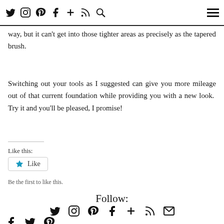[Navigation icons: Twitter, Instagram, Pinterest, Facebook, Plus, RSS, Search] [Hamburger menu]
foundation brush can sweep the makeup on and blend in the same way, but it can't get into those tighter areas as precisely as the tapered brush.
Switching out your tools as I suggested can give you more mileage out of that current foundation while providing you with a new look.  Try it and you'll be pleased, I promise!
Like this:
Like
Be the first to like this.
Follow:
[Figure (infographic): Social media follow icons row: Twitter, Instagram, Pinterest, Facebook, Plus, RSS, Email]
[Figure (infographic): Share icons row at bottom: Facebook, Twitter, Pinterest]